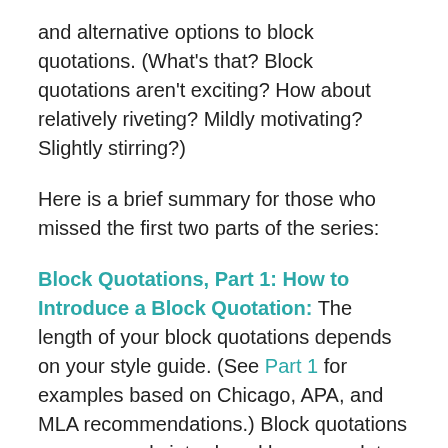and alternative options to block quotations. (What's that? Block quotations aren't exciting? How about relatively riveting? Mildly motivating? Slightly stirring?)
Here is a brief summary for those who missed the first two parts of the series:
Block Quotations, Part 1: How to Introduce a Block Quotation: The length of your block quotations depends on your style guide. (See Part 1 for examples based on Chicago, APA, and MLA recommendations.) Block quotations are commonly introduced by a complete sentence ending with a colon, but they can also be introduced by a complete sentence ending with a